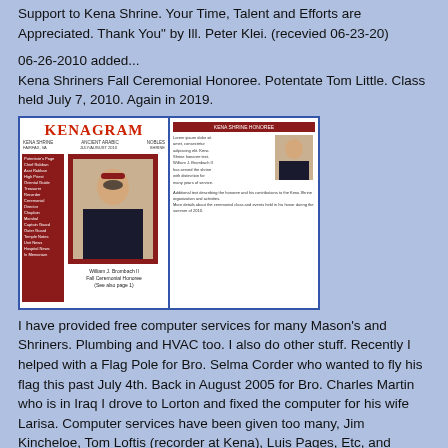Support to Kena Shrine. Your Time, Talent and Efforts are Appreciated. Thank You" by Ill. Peter Klei. (recevied 06-23-20)
06-26-2010 added...
Kena Shriners Fall Ceremonial Honoree. Potentate Tom Little. Class held July 7, 2010. Again in 2019.
[Figure (photo): Two pages of the Kenagram newsletter. Left page shows the KENAGRAM masthead in red with a photo of a man in Shrine regalia (William J. Brombach II, Fall Ceremonial Honoree). Right page shows an interior article page with a smaller photo and text columns, with maroon header and footer bars.]
I have provided free computer services for many Mason's and Shriners. Plumbing and HVAC too. I also do other stuff. Recently I helped with a Flag Pole for Bro. Selma Corder who wanted to fly his flag this past July 4th. Back in August 2005 for Bro. Charles Martin who is in Iraq I drove to Lorton and fixed the computer for his wife Larisa. Computer services have been given too many, Jim Kincheloe, Tom Loftis (recorder at Kena), Luis Pages, Etc, and others you do not know. I stopped by RW.